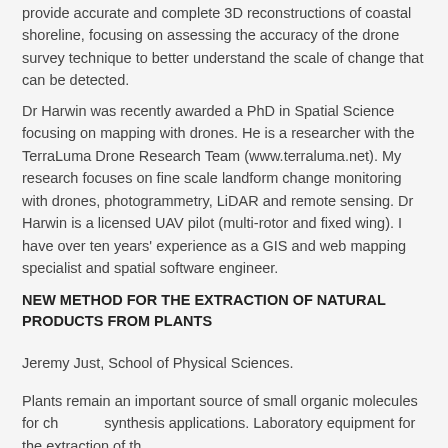provide accurate and complete 3D reconstructions of coastal shoreline, focusing on assessing the accuracy of the drone survey technique to better understand the scale of change that can be detected.
Dr Harwin was recently awarded a PhD in Spatial Science focusing on mapping with drones. He is a researcher with the TerraLuma Drone Research Team (www.terraluma.net). My research focuses on fine scale landform change monitoring with drones, photogrammetry, LiDAR and remote sensing. Dr Harwin is a licensed UAV pilot (multi-rotor and fixed wing). I have over ten years' experience as a GIS and web mapping specialist and spatial software engineer.
NEW METHOD FOR THE EXTRACTION OF NATURAL PRODUCTS FROM PLANTS
Jeremy Just, School of Physical Sciences.
Plants remain an important source of small organic molecules for chemical synthesis applications. Laboratory equipment for the extraction of these molecules from plants and purification of the natural products are expensive and